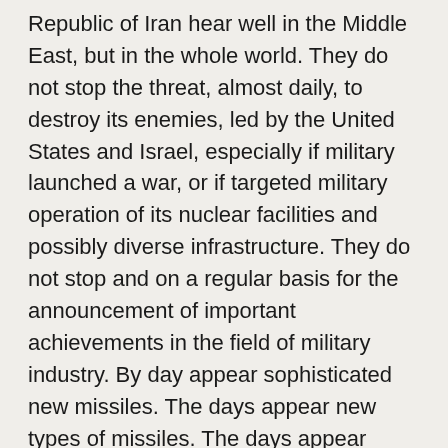Republic of Iran hear well in the Middle East, but in the whole world. They do not stop the threat, almost daily, to destroy its enemies, led by the United States and Israel, especially if military launched a war, or if targeted military operation of its nuclear facilities and possibly diverse infrastructure. They do not stop and on a regular basis for the announcement of important achievements in the field of military industry. By day appear sophisticated new missiles. The days appear new types of missiles. The days appear weapons freely ... To another is as simple as successes. But all that, in the opinion of Western diplomatic sources well-informed, not to scare Americans. They consider it a serious signal to a deep sense of when the Iranians are concerned that Israel might do against military action, or what America might do. Perhaps the biggest source of concern in this areahistor other than the milita...